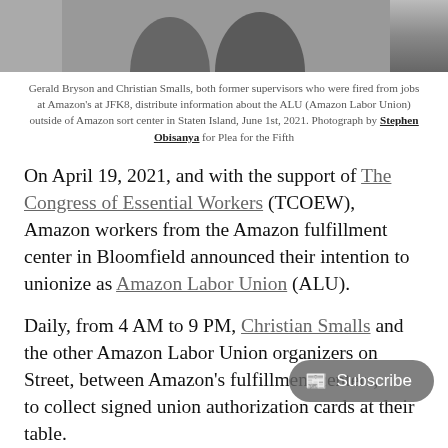[Figure (photo): Black and white photo of people, partially visible, cropped at top of page]
Gerald Bryson and Christian Smalls, both former supervisors who were fired from jobs at Amazon's at JFK8, distribute information about the ALU (Amazon Labor Union) outside of Amazon sort center in Staten Island, June 1st, 2021. Photograph by Stephen Obisanya for Plea for the Fifth
On April 19, 2021, and with the support of The Congress of Essential Workers (TCOEW), Amazon workers from the Amazon fulfillment center in Bloomfield announced their intention to unionize as Amazon Labor Union (ALU).
Daily, from 4 AM to 9 PM, Christian Smalls and the other Amazon Labor Union organizers... Street, between Amazon's fulfillment center..., to collect signed union authorization cards at their table.